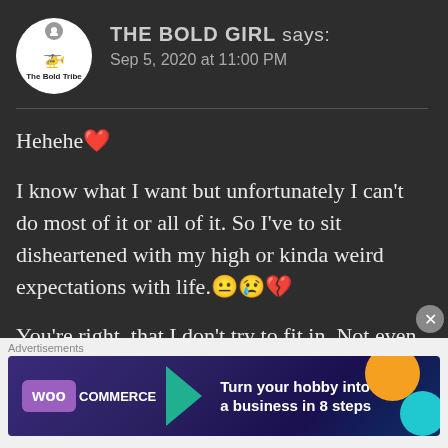THE BOLD GIRL says: Sep 5, 2020 at 11:00 PM
Hehehe❤
I know what I want but unfortunately I can't do most of it or all of it. So I've to sit disheartened with my high or kinda weird expectations with life.😐😢💔
You're right, that I don't try to fit in. Not even for once. That's
[Figure (screenshot): WooCommerce advertisement banner: 'Turn your hobby into a business in 8 steps']